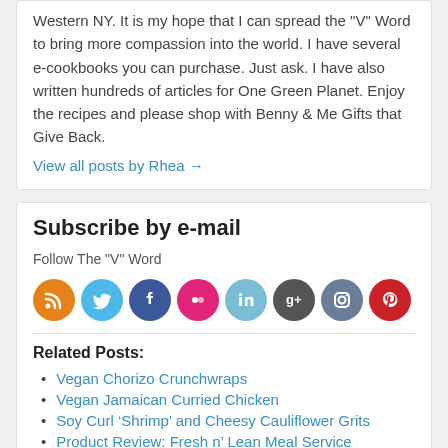Western NY. It is my hope that I can spread the "V" Word to bring more compassion into the world. I have several e-cookbooks you can purchase. Just ask. I have also written hundreds of articles for One Green Planet. Enjoy the recipes and please shop with Benny & Me Gifts that Give Back.
View all posts by Rhea →
Subscribe by e-mail
Follow The "V" Word
[Figure (infographic): Row of 8 social media icon circles: RSS (orange), Twitter (light blue), Facebook (dark blue), Flickr (pink), LinkedIn (light blue), Google+ (dark gray), Instagram (slate blue), Pinterest (red)]
Related Posts:
Vegan Chorizo Crunchwraps
Vegan Jamaican Curried Chicken
Soy Curl ‘Shrimp’ and Cheesy Cauliflower Grits
Product Review: Fresh n’ Lean Meal Service
Product Review: Fawen Ready-to-Drink Soups